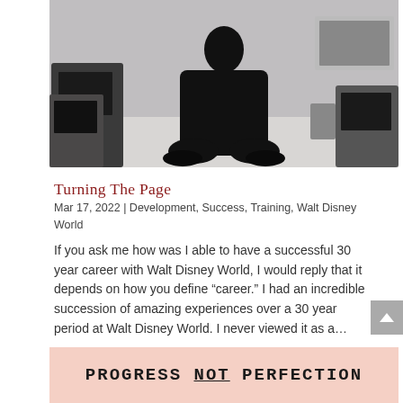[Figure (photo): Person kneeling on floor in black clothing surrounded by old CRT televisions and monitors in a studio or room setting]
Turning The Page
Mar 17, 2022 | Development, Success, Training, Walt Disney World
If you ask me how was I able to have a successful 30 year career with Walt Disney World, I would reply that it depends on how you define “career.” I had an incredible succession of amazing experiences over a 30 year period at Walt Disney World. I never viewed it as a…
[Figure (photo): Pink/salmon background with text PROGRESS NOT PERFECTION in bold handwritten/print style font]